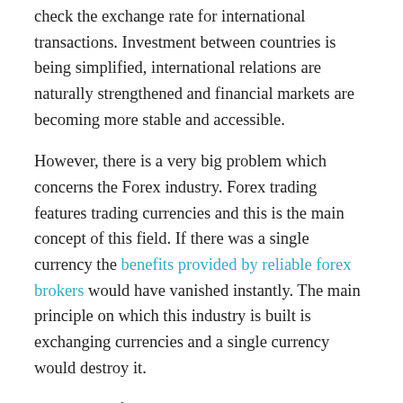check the exchange rate for international transactions. Investment between countries is being simplified, international relations are naturally strengthened and financial markets are becoming more stable and accessible.
However, there is a very big problem which concerns the Forex industry. Forex trading features trading currencies and this is the main concept of this field. If there was a single currency the benefits provided by reliable forex brokers would have vanished instantly. The main principle on which this industry is built is exchanging currencies and a single currency would destroy it.
As a result of numerous discussions about the need for a global currency, the International Monetary Fund (IMF) introduced new world money, Special Drawing Rights, in 1969. The main purpose of the SDR was to overcome the contradiction between the international nature of use and the national nature of currencies. No national currency can become a world currency. The failure of this role is due to the fact that no national currency, no matter what economic and political power of